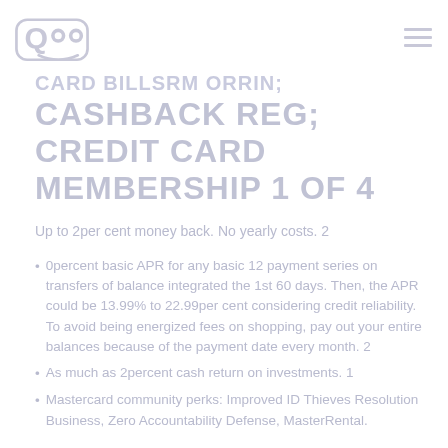Qoo logo and navigation menu
CARD BILLSRM ORRIN; CASHBACK REG; CREDIT CARD MEMBERSHIP 1 OF 4
Up to 2per cent money back. No yearly costs. 2
0percent basic APR for any basic 12 payment series on transfers of balance integrated the 1st 60 days. Then, the APR could be 13.99% to 22.99per cent considering credit reliability. To avoid being energized fees on shopping, pay out your entire balances because of the payment date every month. 2
As much as 2percent cash return on investments. 1
Mastercard community perks: Improved ID Thieves Resolution Business, Zero Accountability Defense, MasterRental.